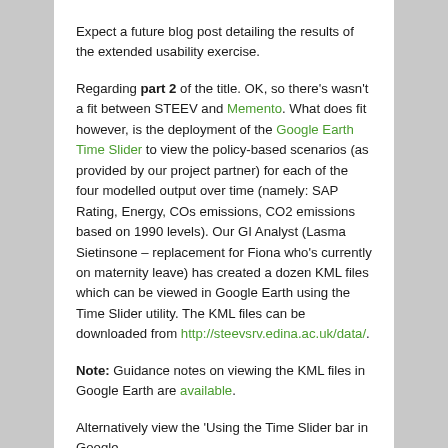Expect a future blog post detailing the results of the extended usability exercise.
Regarding part 2 of the title. OK, so there’s wasn’t a fit between STEEV and Memento. What does fit however, is the deployment of the Google Earth Time Slider to view the policy-based scenarios (as provided by our project partner) for each of the four modelled output over time (namely: SAP Rating, Energy, COs emissions, CO2 emissions based on 1990 levels). Our GI Analyst (Lasma Sietinsone – replacement for Fiona who’s currently on maternity leave) has created a dozen KML files which can be viewed in Google Earth using the Time Slider utility. The KML files can be downloaded from http://steevsrv.edina.ac.uk/data/.
Note: Guidance notes on viewing the KML files in Google Earth are available.
Alternatively view the ‘Using the Time Slider bar in Google